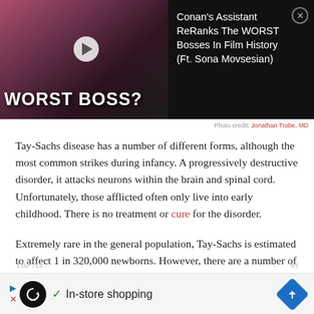[Figure (screenshot): Video thumbnail showing two people on left and a man in the center with text 'WORST BOSS?' overlaid, alongside video title 'Conan's Assistant ReRanks The WORST Bosses In Film History (Ft. Sona Movsesian)' on dark background]
Photo credit: Jonathan Trobe, MD
Tay-Sachs disease has a number of different forms, although the most common strikes during infancy. A progressively destructive disorder, it attacks neurons within the brain and spinal cord. Unfortunately, those afflicted often only live into early childhood. There is no treatment or cure for the disorder.
Extremely rare in the general population, Tay-Sachs is estimated to affect 1 in 320,000 newborns. However, there are a number of groups who suffer from likelier occurrences.
[Figure (screenshot): Advertisement banner showing loop icon, checkmark with 'In-store shopping' text, and a blue navigation arrow icon]